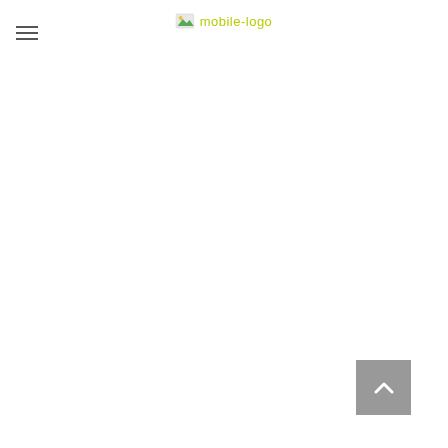[Figure (logo): Mobile logo image with text 'mobile-logo' in yellow-green color with small icon]
[Figure (other): Hamburger menu icon with three horizontal lines]
[Figure (other): Scroll to top button - gray square with upward chevron arrow in white]